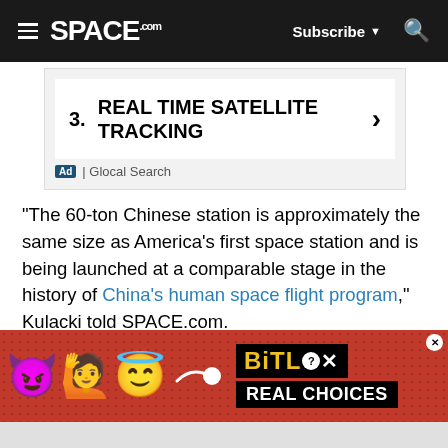SPACE.com — Subscribe | Search
[Figure (screenshot): Advertisement box showing item 3: REAL TIME SATELLITE TRACKING with a right arrow chevron, and 'Ad | Glocal Search' footer label.]
"The 60-ton Chinese station is approximately the same size as America's first space station and is being launched at a comparable stage in the history of China's human space flight program," Kulacki told SPACE.com.
[Figure (screenshot): BitLife advertisement banner with emoji characters (devil, woman shrugging, angel), sperm graphic, BitLife logo in yellow on black, and 'REAL CHOICES' text in white on black. Red dotted background.]